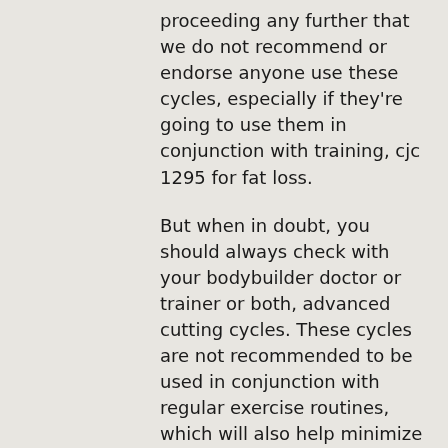proceeding any further that we do not recommend or endorse anyone use these cycles, especially if they're going to use them in conjunction with training, cjc 1295 for fat loss.
But when in doubt, you should always check with your bodybuilder doctor or trainer or both, advanced cutting cycles. These cycles are not recommended to be used in conjunction with regular exercise routines, which will also help minimize risk for muscle loss, and can also be dangerous even if not used for an extended period of time, side effects of clenbuterol for weight loss.
If you're concerned about taking these cycles for any reason, you should be wary and always check with your doctor or trainer.
Why Take This Cycle, prednisone weight loss first week?